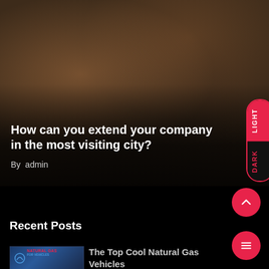[Figure (photo): Hero image showing hands on a desk with a notebook, dark overlay at bottom, showing a business/meeting scene]
How can you extend your company in the most visiting city?
By  admin
[Figure (other): LIGHT/DARK toggle pill button on the right side]
[Figure (other): Scroll-to-top circular red button with upward chevron]
Recent Posts
[Figure (photo): Natural Gas for Vehicles thumbnail image]
The Top Cool Natural Gas Vehicles
[Figure (other): Hamburger menu circular red button]